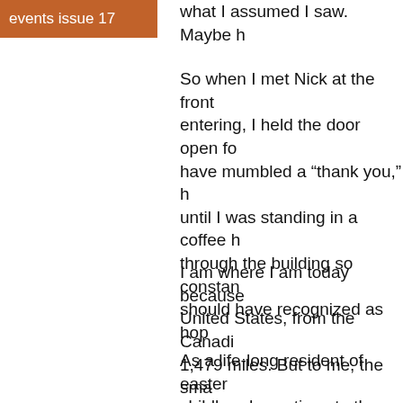events issue 17
what I assumed I saw. Maybe h
So when I met Nick at the front entering, I held the door open fo have mumbled a “thank you,” h until I was standing in a coffee h through the building so constan should have recognized as hop
I am where I am today because United States, from the Canadi 1,479 miles. But to me, the sma South Dakota, running through
As a life-long resident of easter childhood vacations to the area west across the state on the sa